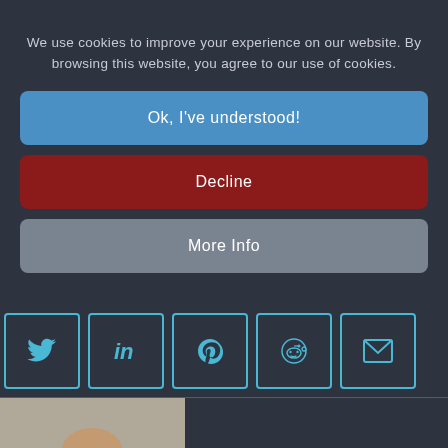We use cookies to improve your experience on our website. By browsing this website, you agree to our use of cookies.
Ok, I've understood!
Decline
More Info
[Figure (screenshot): Social sharing icons: Twitter (bird), LinkedIn (in), Pinterest (P), Reddit (alien), Email (envelope) — each in a teal-bordered square button]
[Figure (photo): A bald man in a dark suit and white shirt, adjusting his glasses, photographed from the chest up against a light beige background]